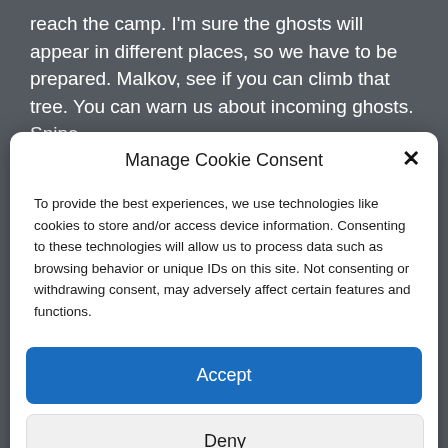reach the camp. I'm sure the ghosts will appear in different places, so we have to be prepared. Malkov, see if you can climb that tree. You can warn us about incoming ghosts. Snipe
Manage Cookie Consent
To provide the best experiences, we use technologies like cookies to store and/or access device information. Consenting to these technologies will allow us to process data such as browsing behavior or unique IDs on this site. Not consenting or withdrawing consent, may adversely affect certain features and functions.
Accept
Deny
View preferences
Cookie Policy